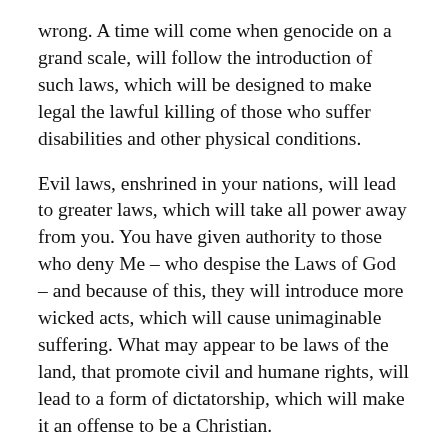wrong. A time will come when genocide on a grand scale, will follow the introduction of such laws, which will be designed to make legal the lawful killing of those who suffer disabilities and other physical conditions.
Evil laws, enshrined in your nations, will lead to greater laws, which will take all power away from you. You have given authority to those who deny Me – who despise the Laws of God – and because of this, they will introduce more wicked acts, which will cause unimaginable suffering. What may appear to be laws of the land, that promote civil and humane rights, will lead to a form of dictatorship, which will make it an offense to be a Christian.
Protect My Word. Speak of My Word. Do not fall into the trap of embracing any global civil rights campaign, which is designed to convert the